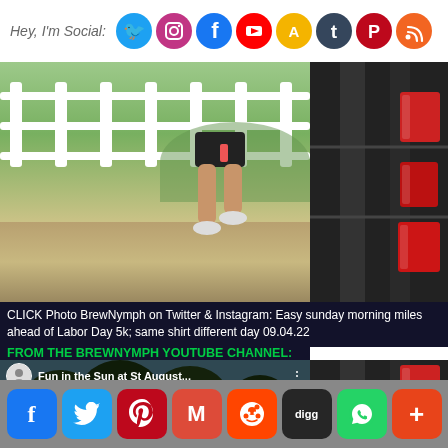Hey, I'm Social:
[Figure (photo): Running photo showing legs of a runner on a paved path next to a white wooden fence with green grass and trees in the background. Split with a dark right panel showing red cups on dark background.]
CLICK Photo BrewNymph on Twitter & Instagram: Easy sunday morning miles ahead of Labor Day 5k; same shirt different day 09.04.22
FROM THE BREWNYMPH YOUTUBE CHANNEL:
[Figure (screenshot): YouTube video thumbnail titled 'Fun in the Sun at St August...' showing a crowd of people outdoors under trees with a canopy tent. YouTube play button overlaid in center.]
[Figure (screenshot): Social sharing buttons bar at bottom: Facebook (blue), Twitter (blue), Pinterest (red), Gmail (red), Reddit (orange-red), Digg (dark), WhatsApp (green), More (red-orange)]